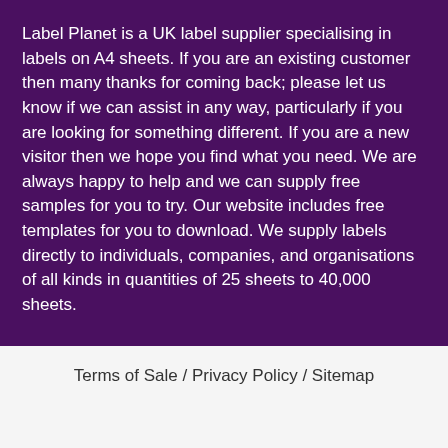Label Planet is a UK label supplier specialising in labels on A4 sheets. If you are an existing customer then many thanks for coming back; please let us know if we can assist in any way, particularly if you are looking for something different. If you are a new visitor then we hope you find what you need. We are always happy to help and we can supply free samples for you to try. Our website includes free templates for you to download. We supply labels directly to individuals, companies, and organisations of all kinds in quantities of 25 sheets to 40,000 sheets.
Terms of Sale / Privacy Policy / Sitemap
Were you able to find the information you were looking for?
Reply
Label Plan… r registered in Engla… ers of the